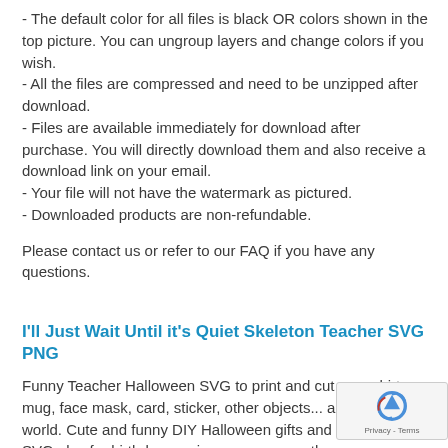- The default color for all files is black OR colors shown in the top picture. You can ungroup layers and change colors if you wish.
- All the files are compressed and need to be unzipped after download.
- Files are available immediately for download after purchase. You will directly download them and also receive a download link on your email.
- Your file will not have the watermark as pictured.
- Downloaded products are non-refundable.
Please contact us or refer to our FAQ if you have any questions.
I'll Just Wait Until it's Quiet Skeleton Teacher SVG PNG
Funny Teacher Halloween SVG to print and cut on a shirt, mug, face mask, card, sticker, other objects... and show to the world. Cute and funny DIY Halloween gifts and c Perfect SVG also for birthday, anniversary, or any other